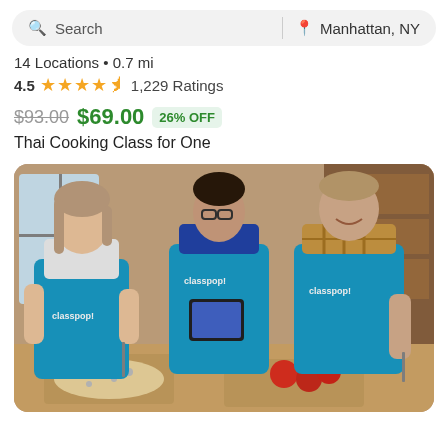Search | Manhattan, NY
14 Locations • 0.7 mi
4.5 ★★★★½ 1,229 Ratings
$93.00 $69.00 26% OFF
Thai Cooking Class for One
[Figure (photo): Three people wearing blue Classpop! aprons in a kitchen, cutting vegetables on a wooden cutting board. A woman on the left, an instructor in the middle holding a tablet, and a man on the right smiling while chopping tomatoes.]